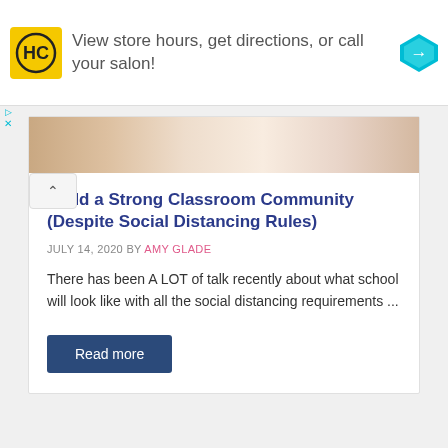[Figure (advertisement): HC salon logo advertisement banner with text 'View store hours, get directions, or call your salon!' and a navigation arrow icon]
[Figure (photo): Cropped photo showing hands, partial view from article about classroom community]
Build a Strong Classroom Community (Despite Social Distancing Rules)
JULY 14, 2020 BY AMY GLADE
There has been A LOT of talk recently about what school will look like with all the social distancing requirements ...
Read more